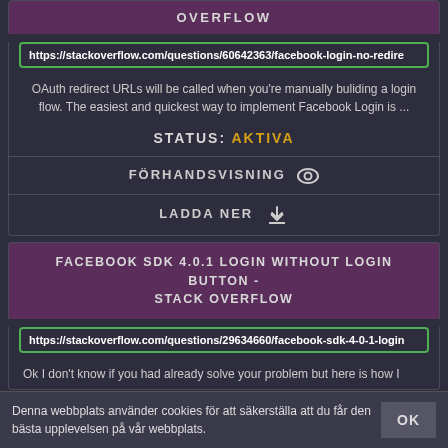OVERFLOW
https://stackoverflow.com/questions/60642363/facebook-login-no-redire
OAuth redirect URLs will be called when you're manually buliding a login flow. The easiest and quickest way to implement Facebook Login is ...
STATUS: AKTIVA
FÖRHANDSVISNING
LADDA NER
FACEBOOK SDK 4.0.1 LOGIN WITHOUT LOGIN BUTTON - STACK OVERFLOW
https://stackoverflow.com/questions/29634660/facebook-sdk-4-0-1-login
Ok I don't know if you had already solve your problem but here is how I
Denna webbplats använder cookies för att säkerställa att du får den bästa upplevelsen på vår webbplats.